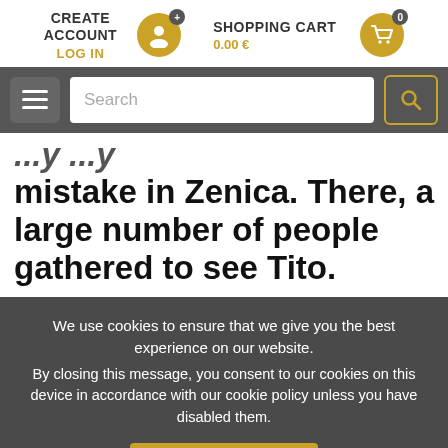CREATE ACCOUNT  LOG IN  SHOPPING CART  0.00 €
mistake in Zenica. There, a large number of people gathered to see Tito.
We use cookies to ensure that we give you the best experience on our website. By closing this message, you consent to our cookies on this device in accordance with our cookie policy unless you have disabled them.
I Agree!